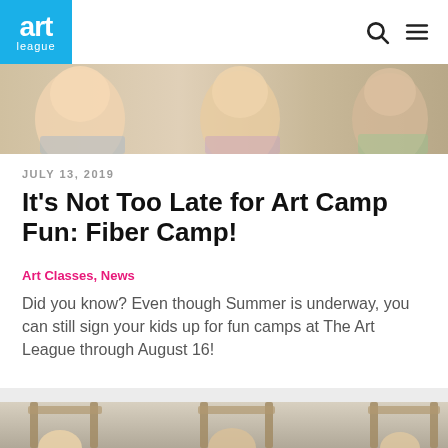art league
[Figure (photo): Top banner photo showing smiling children at art camp]
JULY 13, 2019
It’s Not Too Late for Art Camp Fun: Fiber Camp!
Art Classes, News
Did you know? Even though Summer is underway, you can still sign your kids up for fun camps at The Art League through August 16!
[Figure (photo): Bottom photo showing children working at looms or art stations]